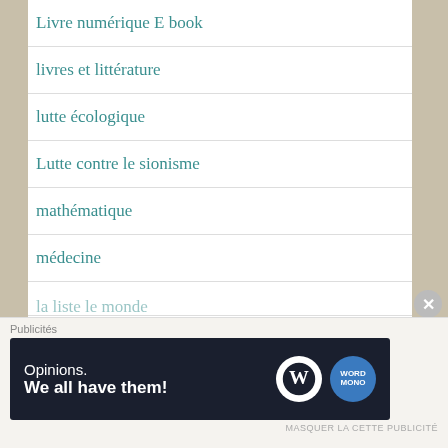Livre numérique E book
livres et littérature
lutte écologique
Lutte contre le sionisme
mathématique
médecine
Meilleurs Voeux
Mouvement Conspirationiste Mondial
Publicités
[Figure (other): WordPress advertisement banner: 'Opinions. We all have them!' with WordPress and WordPress.com logos on dark navy background]